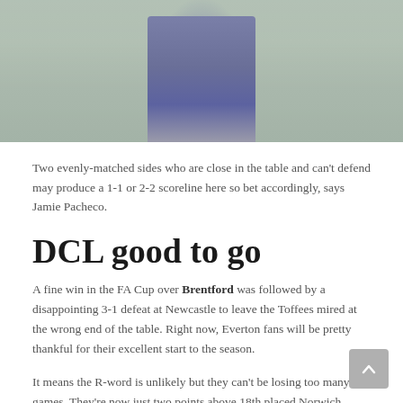[Figure (photo): A football player on a grass pitch, wearing a blue/purple kit, photographed from mid-body upward.]
Two evenly-matched sides who are close in the table and can't defend may produce a 1-1 or 2-2 scoreline here so bet accordingly, says Jamie Pacheco.
DCL good to go
A fine win in the FA Cup over Brentford was followed by a disappointing 3-1 defeat at Newcastle to leave the Toffees mired at the wrong end of the table. Right now, Everton fans will be pretty thankful for their excellent start to the season.
It means the R-word is unlikely but they can't be losing too many games. They're now just two points above 18th placed Norwich.
But there's good news for Frank Lampard ahead of his second league game in charge.